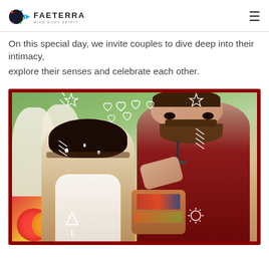FaeTerra
On this special day, we invite couples to dive deep into their intimacy,
explore their senses and celebrate each other.
[Figure (photo): A couple gazing at each other intimately at an outdoor gathering. The woman has short dark hair with floral accessories; the man has a bun hairstyle and tattoos, wearing a dark red outfit. The image is framed with a dark red decorative border featuring stars, hearts, and line art doodles.]